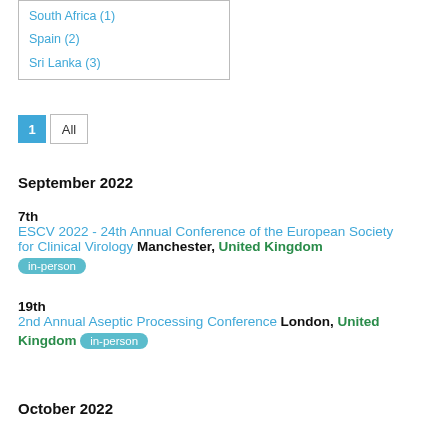South Africa (1)
Spain (2)
Sri Lanka (3)
1 All
September 2022
7th ESCV 2022 - 24th Annual Conference of the European Society for Clinical Virology Manchester, United Kingdom in-person
19th 2nd Annual Aseptic Processing Conference London, United Kingdom in-person
October 2022